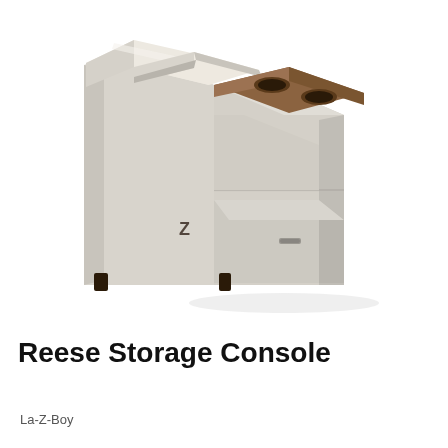[Figure (photo): A La-Z-Boy Reese Storage Console photographed on a white background. The console is upholstered in cream/off-white leather-like material and features a cushioned seat back, a padded flip-up seat, a wooden top panel with two cup holders, a middle drawer section, and a lower drawer compartment. Small black legs/feet are visible at the base.]
Reese Storage Console
La-Z-Boy